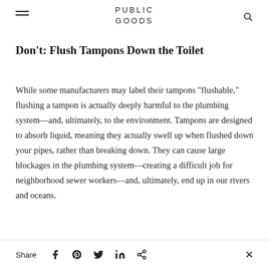PUBLIC GOODS
Don’t: Flush Tampons Down the Toilet
While some manufacturers may label their tampons “flushable,” flushing a tampon is actually deeply harmful to the plumbing system—and, ultimately, to the environment. Tampons are designed to absorb liquid, meaning they actually swell up when flushed down your pipes, rather than breaking down. They can cause large blockages in the plumbing system—creating a difficult job for neighborhood sewer workers—and, ultimately, end up in our rivers and oceans.
Share